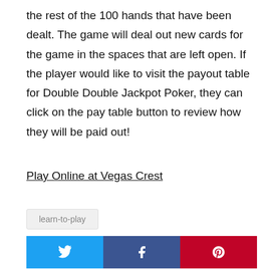the rest of the 100 hands that have been dealt. The game will deal out new cards for the game in the spaces that are left open. If the player would like to visit the payout table for Double Double Jackpot Poker, they can click on the pay table button to review how they will be paid out!
Play Online at Vegas Crest
learn-to-play
[Figure (infographic): Social share buttons: Twitter (blue), Facebook (dark blue), Pinterest (red) with respective icons]